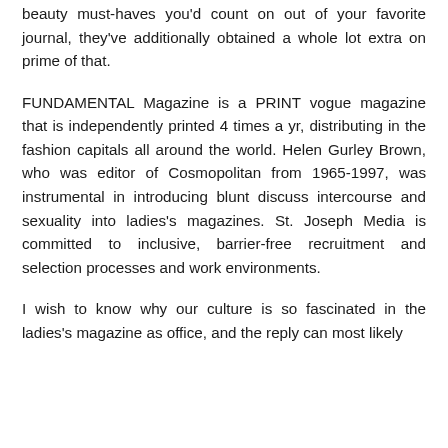beauty must-haves you'd count on out of your favorite journal, they've additionally obtained a whole lot extra on prime of that.
FUNDAMENTAL Magazine is a PRINT vogue magazine that is independently printed 4 times a yr, distributing in the fashion capitals all around the world. Helen Gurley Brown, who was editor of Cosmopolitan from 1965-1997, was instrumental in introducing blunt discuss intercourse and sexuality into ladies's magazines. St. Joseph Media is committed to inclusive, barrier-free recruitment and selection processes and work environments.
I wish to know why our culture is so fascinated in the ladies's magazine as office, and the reply can most likely